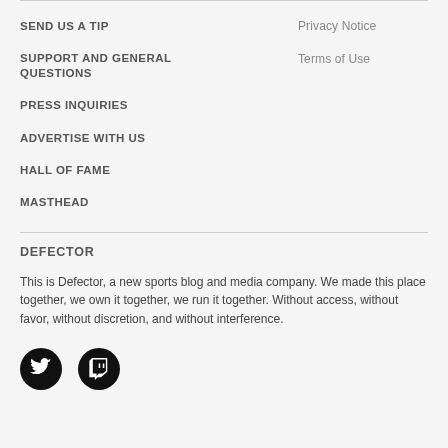SEND US A TIP
SUPPORT AND GENERAL QUESTIONS
PRESS INQUIRIES
ADVERTISE WITH US
HALL OF FAME
MASTHEAD
Privacy Notice
Terms of Use
DEFECTOR
This is Defector, a new sports blog and media company. We made this place together, we own it together, we run it together. Without access, without favor, without discretion, and without interference.
[Figure (other): Two circular social media icon buttons: Twitter bird logo and Twitch logo, both white on black circles]